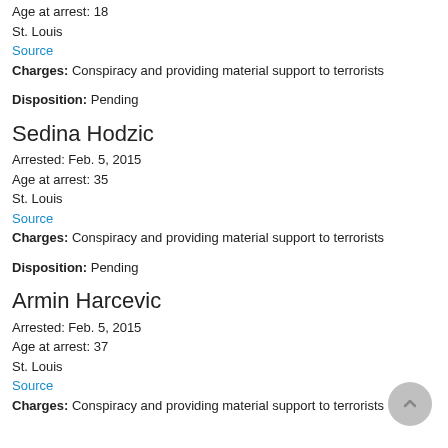Age at arrest: 18
St. Louis
Source
Charges: Conspiracy and providing material support to terrorists
Disposition: Pending
Sedina Hodzic
Arrested: Feb. 5, 2015
Age at arrest: 35
St. Louis
Source
Charges: Conspiracy and providing material support to terrorists
Disposition: Pending
Armin Harcevic
Arrested: Feb. 5, 2015
Age at arrest: 37
St. Louis
Source
Charges: Conspiracy and providing material support to terrorists